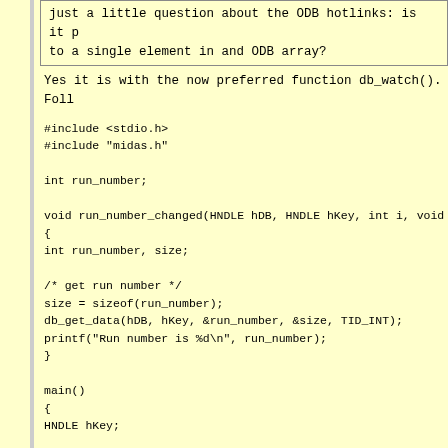Just a little question about the ODB hotlinks: is it possible to link to a single element in and ODB array?
Yes it is with the now preferred function db_watch(). Foll
#include <stdio.h>
#include "midas.h"

int run_number;

void run_number_changed(HNDLE hDB, HNDLE hKey, int i, void
{
int run_number, size;

/* get run number */
size = sizeof(run_number);
db_get_data(hDB, hKey, &run_number, &size, TID_INT);
printf("Run number is %d\n", run_number);
}

main()
{
HNDLE hKey;

/* connect to experiment */
cm_connect_experiment("", "", "ODB Test", NULL);

/* open hot link to run number */
db_find_key(1, 0, "/runinfo/run number", &hKey);